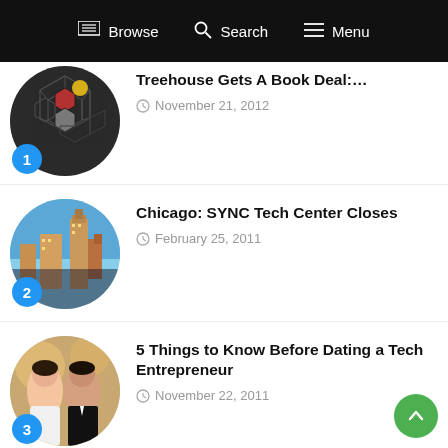Browse | Search | Menu
Treehouse Gets A Book Deal:... — November 21, 2012
Chicago: SYNC Tech Center Closes — February 25, 2011
5 Things to Know Before Dating a Tech Entrepreneur — November 22, 2011
Chicago's Top 30 In Tech 2010